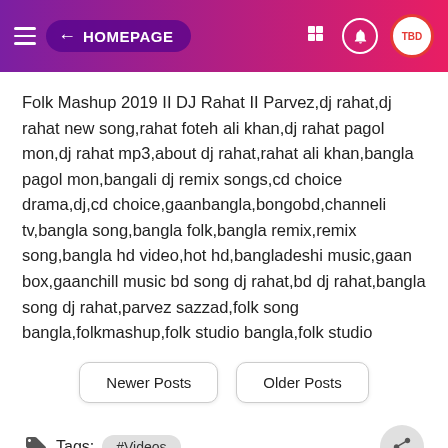← HOMEPAGE
Folk Mashup 2019 II DJ Rahat II Parvez,dj rahat,dj rahat new song,rahat foteh ali khan,dj rahat pagol mon,dj rahat mp3,about dj rahat,rahat ali khan,bangla pagol mon,bangali dj remix songs,cd choice drama,dj,cd choice,gaanbangla,bongobd,channeli tv,bangla song,bangla folk,bangla remix,remix song,bangla hd video,hot hd,bangladeshi music,gaan box,gaanchill music bd song dj rahat,bd dj rahat,bangla song dj rahat,parvez sazzad,folk song bangla,folkmashup,folk studio bangla,folk studio
Newer Posts
Older Posts
Tags: #Videos